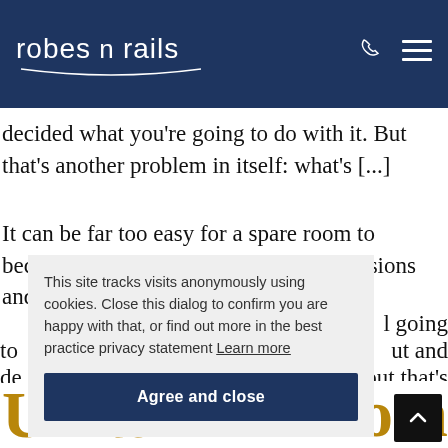robes n rails
decided what you’re going to do with it. But that’s another problem in itself: what’s [...]
It can be far too easy for a spare room to become a landfill for our surplus possessions and, if so, the va... l going to... ut and de... but that’s an...
This site tracks visits anonymously using cookies. Close this dialog to confirm you are happy with that, or find out more in the best practice privacy statement Learn more
Agree and close
Vanity Units